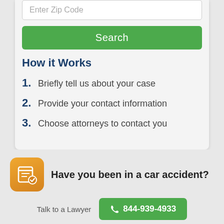Enter Zip Code
Search
How it Works
1. Briefly tell us about your case
2. Provide your contact information
3. Choose attorneys to contact you
Have you been in a car accident?
Talk to a Lawyer
844-939-4933